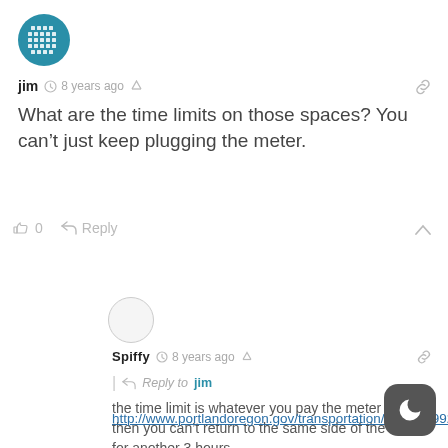[Figure (other): User avatar for jim - blue grid/globe pattern circular icon]
jim  8 years ago
What are the time limits on those spaces? You can't just keep plugging the meter.
0  Reply
[Figure (other): User avatar for Spiffy - empty white circle with gray border]
Spiffy  8 years ago
Reply to jim
the time limit is whatever you pay the meter for... then you can't return to the same side of the block for another 3 hours...
http://www.portlandoregon.gov/transportation/article/59929